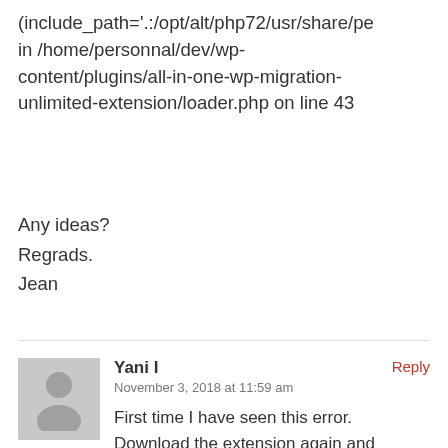(include_path='.:/opt/alt/php72/usr/share/pe in /home/personnal/dev/wp-content/plugins/all-in-one-wp-migration-unlimited-extension/loader.php on line 43
Any ideas?
Regrads.
Jean
Yani I — November 3, 2018 at 11:59 am — First time I have seen this error. Download the extension again and try to upload it and activate it again. If you continue to